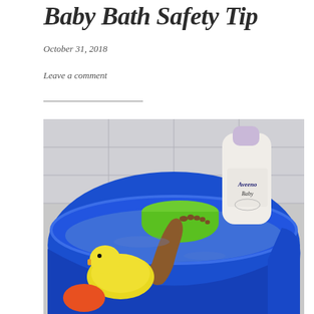Baby Bath Safety Tip
October 31, 2018
Leave a comment
[Figure (photo): Photo of a blue baby bathtub filled with water, containing a baby's foot/leg, a yellow rubber duck, a green cup/bowl, and an Aveeno Baby lotion bottle with a lavender cap, placed against white tiled wall.]